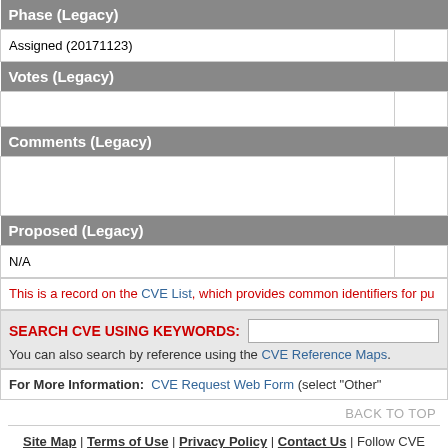| Phase (Legacy) |  |
| --- | --- |
| Assigned (20171123) |  |
| Votes (Legacy) |  |
| --- | --- |
|  |  |
| Comments (Legacy) |  |
| --- | --- |
|  |  |
| Proposed (Legacy) |  |
| --- | --- |
| N/A |  |
This is a record on the CVE List, which provides common identifiers for pu...
SEARCH CVE USING KEYWORDS:
You can also search by reference using the CVE Reference Maps.
For More Information: CVE Request Web Form (select "Other"...
BACK TO TOP
Site Map | Terms of Use | Privacy Policy | Contact Us | Follow CVE
Use of the CVE® List and the associated references from this website are subject to the terms of use. CVE is sponsored by the U.S. Department of Homeland